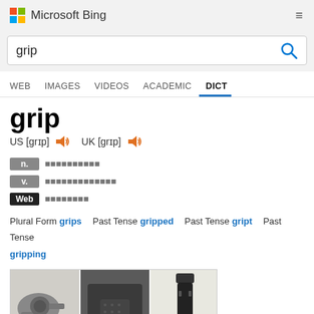Microsoft Bing
grip (search query)
WEB  IMAGES  VIDEOS  ACADEMIC  DICT
grip
US [grɪp]  UK [grɪp]
| POS | Definition |
| --- | --- |
| n. | （中文释义） |
| v. | （中文释义） |
| Web | （中文释义） |
Plural Form: grips  Past Tense: gripped  Past Tense: gript  Past Tense: gripping
[Figure (photo): Three images related to 'grip': a revolver handgun grip, a pistol grip close-up, and a tactical rifle grip attachment]